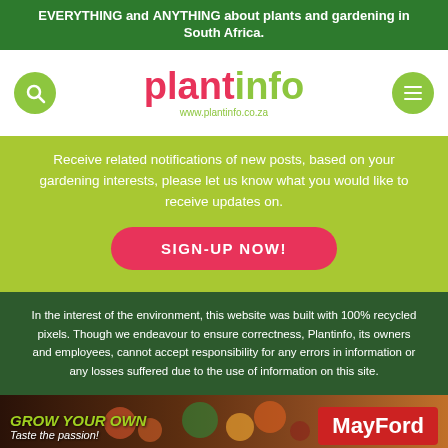EVERYTHING and ANYTHING about plants and gardening in South Africa.
[Figure (logo): Plantinfo logo with search and menu buttons, URL www.plantinfo.co.za]
Receive related notifications of new posts, based on your gardening interests, please let us know what you would like to receive updates on.
SIGN-UP NOW!
In the interest of the environment, this website was built with 100% recycled pixels. Though we endeavour to ensure correctness, Plantinfo, its owners and employees, cannot accept responsibility for any errors in information or any losses suffered due to the use of information on this site.
[Figure (photo): MayFord advertisement banner: GROW YOUR OWN - Taste the passion! with vegetables in background and MayFord logo]
[Figure (infographic): Social media sharing bar with Facebook, Twitter, LinkedIn, Instagram, WhatsApp, Messenger, Pinterest, and Share icons]